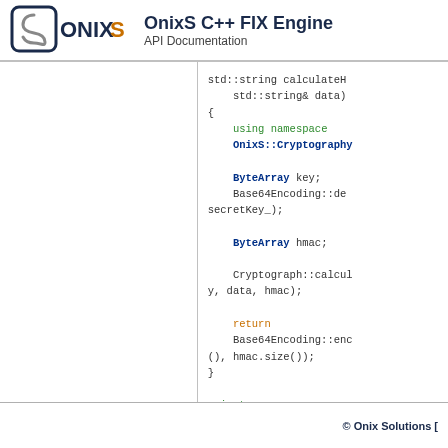OnixS C++ FIX Engine API Documentation
[Figure (logo): ONIXS logo with stylized S icon in dark navy and orange text]
std::string calculateH(
    std::string& data)
{
    using namespace
    OnixS::Cryptography

    ByteArray key;
    Base64Encoding::de
secretKey_);

    ByteArray hmac;

    Cryptograph::calcul
y, data, hmac);

    return
    Base64Encoding::enc
(), hmac.size());
}

private:

    std::string accessKeyl
    std::string secretKey_
};
© Onix Solutions [